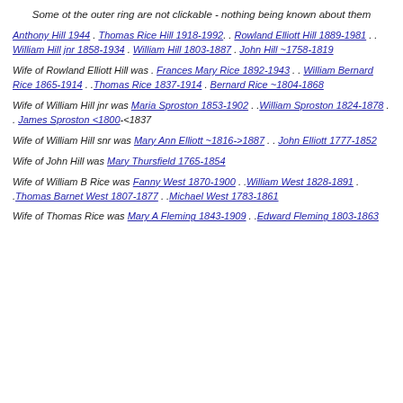Some ot the outer ring are not clickable - nothing being known about them
Anthony Hill 1944 . Thomas Rice Hill 1918-1992. . Rowland Elliott Hill 1889-1981 . . William Hill jnr 1858-1934 . William Hill 1803-1887 . John Hill ~1758-1819
Wife of Rowland Elliott Hill was . Frances Mary Rice 1892-1943 . . William Bernard Rice 1865-1914 . .Thomas Rice 1837-1914 . Bernard Rice ~1804-1868
Wife of William Hill jnr was Maria Sproston 1853-1902 . .William Sproston 1824-1878 . . James Sproston <1800-<1837
Wife of William Hill snr was Mary Ann Elliott ~1816->1887 . . John Elliott 1777-1852
Wife of John Hill was Mary Thursfield 1765-1854
Wife of William B Rice was Fanny West 1870-1900 . .William West 1828-1891 . .Thomas Barnet West 1807-1877 . .Michael West 1783-1861
Wife of Thomas Rice was Mary A Fleming 1843-1909 . .Edward Fleming 1803-1863